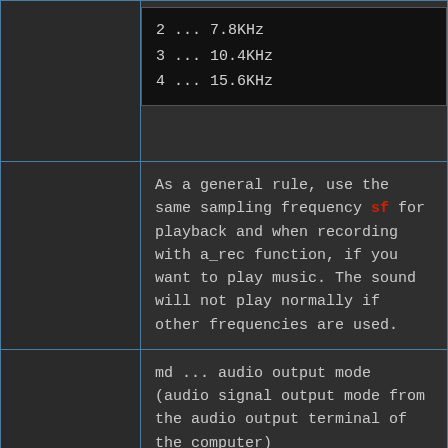2 ... 7.8KHz
3 ... 10.4KHz
4 ... 15.6KHz
As a general rule, use the same sampling frequency sf for playback and when recording with a_rec function, if you want to play music. The sound will not play normally if other frequencies are used.
md ... audio output mode (audio signal output mode from the audio output terminal of the computer)
0 ... silence
1 ... left channel
2 ... right channel
3 ... stereo output